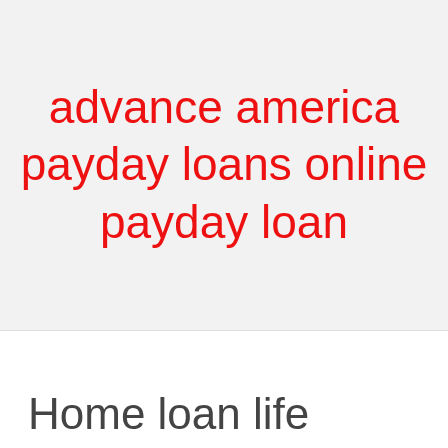advance america payday loans online payday loan
Home loan life